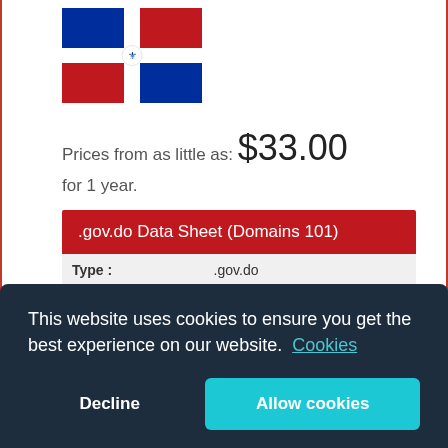[Figure (illustration): Dominican Republic flag — four quarters (blue top-left, red top-right, red bottom-left, blue bottom-right) with white cross and coat of arms in center]
Prices from as little as: $33.00
for 1 year.
.gov.do Data Sheet (Domains 101)
| Type : | .gov.do |
| --- | --- |
| Country : | Dominican Republic |
| Maxium Registration |  |
This website uses cookies to ensure you get the best experience on our website. Cookies
Decline
Allow cookies